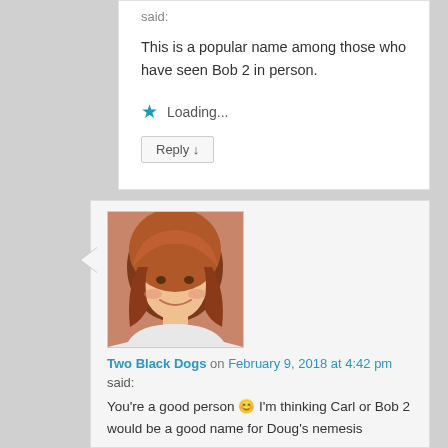This is a popular name among those who have seen Bob 2 in person.
Loading...
Reply ↓
[Figure (photo): Avatar photo of a woman with red/auburn hair, smiling]
Two Black Dogs on February 9, 2018 at 4:42 pm
said:
You're a good person 😊 I'm thinking Carl or Bob 2 would be a good name for Doug's nemesis
Loading...